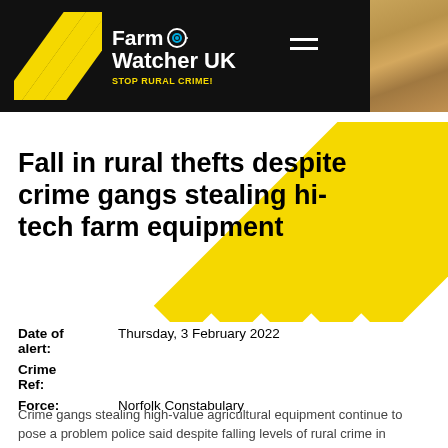Farm Watcher UK — STOP RURAL CRIME!
Fall in rural thefts despite crime gangs stealing hi-tech farm equipment
Date of alert: Thursday, 3 February 2022
Crime Ref:
Force: Norfolk Constabulary
Crime gangs stealing high-value agricultural equipment continue to pose a problem police said despite falling levels of rural crime in Norfolk.